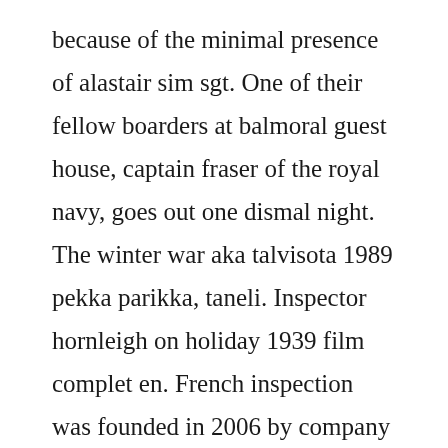because of the minimal presence of alastair sim sgt. One of their fellow boarders at balmoral guest house, captain fraser of the royal navy, goes out one dismal night. The winter war aka talvisota 1989 pekka parikka, taneli. Inspector hornleigh on holiday 1939 film complet en. French inspection was founded in 2006 by company president dean french, a united states marine corps veteran and proud graduate of sam houston state university. Inspector hornleigh on holiday 1939 the movie database. French translation of detection inontent online click